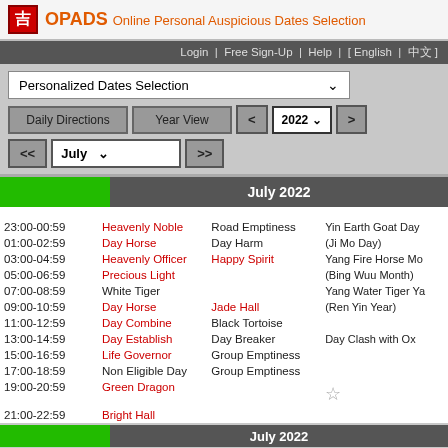吉 OPADS Online Personal Auspicious Dates Selection
Login | Free Sign-Up | Help | [ English | 中文 ]
Personalized Dates Selection
Daily Directions  Year View  <  2022  >  <<  July  >>
July 2022
| Time | Name | Extra | Right |
| --- | --- | --- | --- |
| 23:00-00:59 | Heavenly Noble | Road Emptiness | Yin Earth Goat Day (Ji Mo Day) |
| 01:00-02:59 | Day Horse | Day Harm |  |
| 03:00-04:59 | Heavenly Officer | Happy Spirit | Yang Fire Horse Mo (Bing Wuu Month) |
| 05:00-06:59 | Precious Light |  |  |
| 07:00-08:59 | White Tiger |  | Yang Water Tiger Ya (Ren Yin Year) |
| 09:00-10:59 | Day Horse | Jade Hall |  |
| 11:00-12:59 | Day Combine | Black Tortoise |  |
| 13:00-14:59 | Day Establish | Day Breaker | Day Clash with Ox |
| 15:00-16:59 | Life Governor | Group Emptiness |  |
| 17:00-18:59 | Non Eligible Day | Group Emptiness |  |
| 19:00-20:59 | Green Dragon |  |  |
| 21:00-22:59 | Bright Hall |  |  |
July 2022